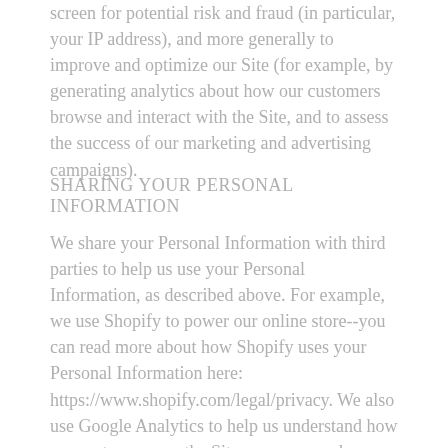screen for potential risk and fraud (in particular, your IP address), and more generally to improve and optimize our Site (for example, by generating analytics about how our customers browse and interact with the Site, and to assess the success of our marketing and advertising campaigns).
SHARING YOUR PERSONAL INFORMATION
We share your Personal Information with third parties to help us use your Personal Information, as described above. For example, we use Shopify to power our online store--you can read more about how Shopify uses your Personal Information here: https://www.shopify.com/legal/privacy. We also use Google Analytics to help us understand how our customers use the Site--you can read more about how Google uses your Personal Information here: